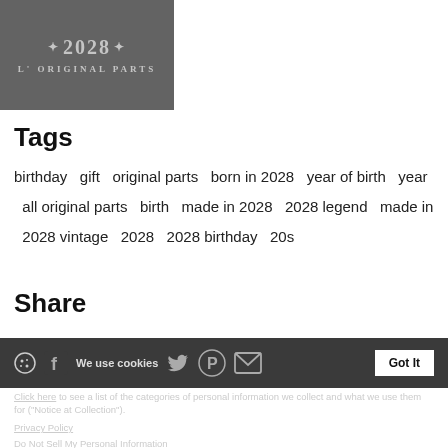[Figure (illustration): Dark gray square product image showing '2028' with decorative dots and text 'ORIGINAL PARTS' in vintage style lettering]
Tags
birthday  gift  original parts  born in 2028  year of birth  year  all original parts  birth  made in 2028  2028 legend  made in  2028 vintage  2028  2028 birthday  20s
Share
[Figure (infographic): Social sharing icons: Facebook, Twitter, Pinterest, Email on dark background]
We use cookies
Click here to see a list of the categories of personal information we collect and what we use them for ("Notice at Collection").
Privacy Policy
Do Not Sell My Personal Information
By using this website, I agree to the Terms and Conditions